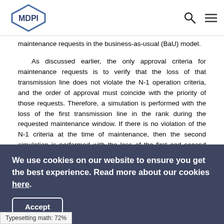MDPI
maintenance requests in the business-as-usual (BaU) model.
As discussed earlier, the only approval criteria for maintenance requests is to verify that the loss of that transmission line does not violate the N-1 operation criteria, and the order of approval must coincide with the priority of those requests. Therefore, a simulation is performed with the loss of the first transmission line in the rank during the requested maintenance window. If there is no violation of the N-1 criteria at the time of maintenance, then the second simulation is performed with the loss of the first and second transmission
We use cookies on our website to ensure you get the best experience. Read more about our cookies here.
Accept
Typesetting math: 72%